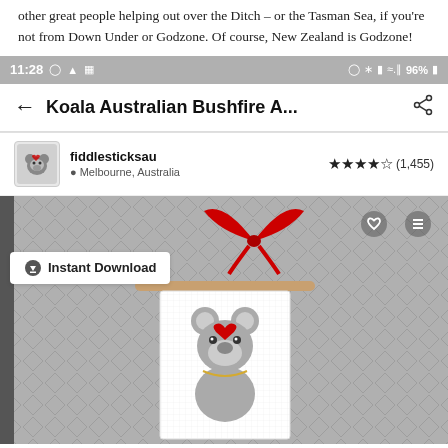other great people helping out over the Ditch – or the Tasman Sea, if you're not from Down Under or Godzone. Of course, New Zealand is Godzone!
[Figure (screenshot): Mobile phone screenshot showing an Etsy product listing page for 'Koala Australian Bushfire A...' by seller fiddlesticksau from Melbourne, Australia with 4-star rating (1,455 reviews). The listing shows an Instant Download badge and a product image of a cross-stitch wall hanging featuring a koala with a red heart, hung with a red ribbon bow on a grey diamond-pattern background.]